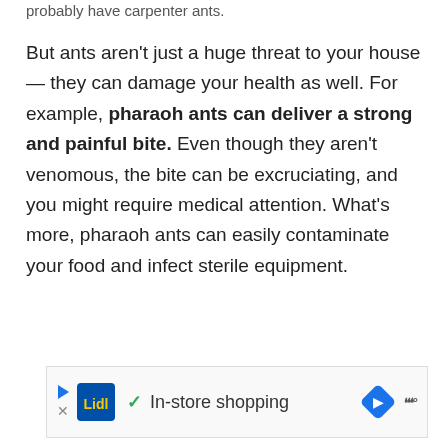probably have carpenter ants.
But ants aren't just a huge threat to your house — they can damage your health as well. For example, pharaoh ants can deliver a strong and painful bite. Even though they aren't venomous, the bite can be excruciating, and you might require medical attention. What's more, pharaoh ants can easily contaminate your food and infect sterile equipment.
[Figure (other): Advertisement banner showing Lidl logo, a checkmark, text 'In-store shopping', a blue diamond navigation icon, and a triple-W logo (www).]